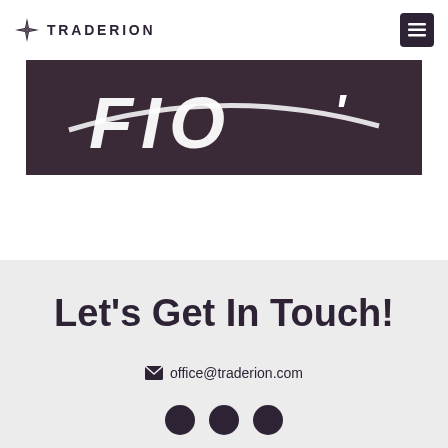TRADERION
[Figure (logo): Traderion FIO logo on dark purple banner background]
Let's Get In Touch!
office@traderion.com